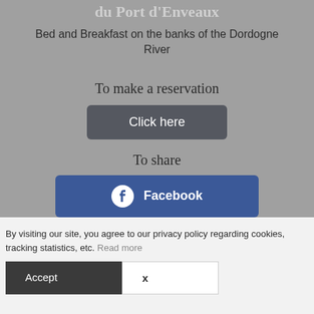du Port d'Enveaux
Bed and Breakfast on the banks of the Dordogne River
To make a reservation
Click here
To share
Facebook
By visiting our site, you agree to our privacy policy regarding cookies, tracking statistics, etc. Read more
Accept
X